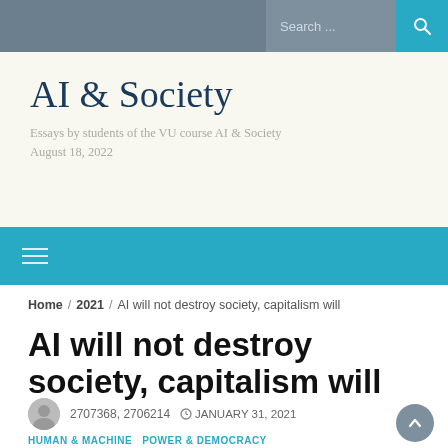Search ...
AI & Society
Essays by students of the VU course AI & Society
August 18, 2022
Home / 2021 / AI will not destroy society, capitalism will
AI will not destroy society, capitalism will
2707368, 2706214   JANUARY 31, 2021
HUMAN & MACHINE   POWER & DEMOCRACY